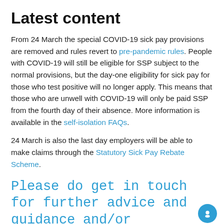Latest content
From 24 March the special COVID-19 sick pay provisions are removed and rules revert to pre-pandemic rules. People with COVID-19 will still be eligible for SSP subject to the normal provisions, but the day-one eligibility for sick pay for those who test positive will no longer apply. This means that those who are unwell with COVID-19 will only be paid SSP from the fourth day of their absence. More information is available in the self-isolation FAQs.
24 March is also the last day employers will be able to make claims through the Statutory Sick Pay Rebate Scheme.
Please do get in touch for further advice and guidance and/or